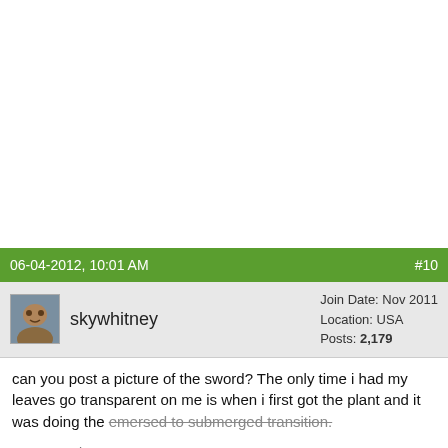06-04-2012, 10:01 AM   #10
skywhitney
Join Date: Nov 2011
Location: USA
Posts: 2,179
can you post a picture of the sword? The only time i had my leaves go transparent on me is when i first got the plant and it was doing the emersed to submerged transition.
Are you using CO2?